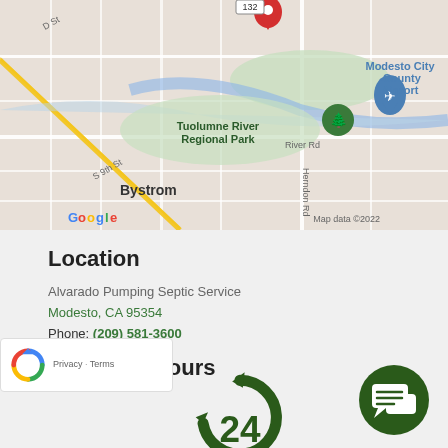[Figure (map): Google Maps showing location near Modesto City-County Airport, Tuolumne River Regional Park, and Bystrom area. Red location pin at top center. Map data ©2022.]
Location
Alvarado Pumping Septic Service
Modesto, CA 95354
Phone: (209) 581-3600
Business Hours
[Figure (illustration): Dark green circular arrows forming a 24-hour cycle icon, partially visible at bottom]
[Figure (illustration): Dark green circle with white chat/message bubbles icon in bottom right]
[Figure (illustration): reCAPTCHA badge with Google logo and Privacy - Terms text]